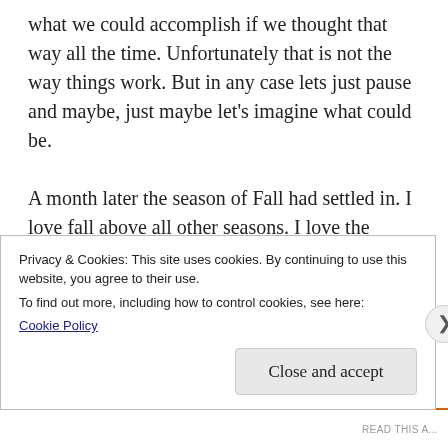what we could accomplish if we thought that way all the time. Unfortunately that is not the way things work. But in any case lets just pause and maybe, just maybe let's imagine what could be.

A month later the season of Fall had settled in. I love fall above all other seasons. I love the changing of colors. The change in temperature to a coolness greeted with warmth in the afternoons. I looked forward to raking the leaves from underneath the large maple tree in our yard. It was kind of magical experience. On this day on October I was with my oldest son, he with his little loaf
Privacy & Cookies: This site uses cookies. By continuing to use this website, you agree to their use.
To find out more, including how to control cookies, see here:
Cookie Policy
Close and accept